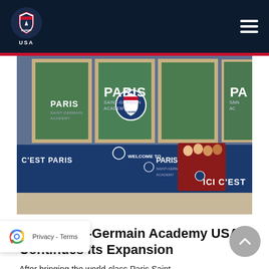[Figure (logo): Paris Saint-Germain Academy USA shield logo in white circle on dark navy header background]
[Figure (photo): Interior of PSG Academy facility showing glass windows with Paris Saint-Germain Academy branding, ICI C'EST PARIS signage, and a group of players in red PSG kits on blue branded wall panels, with green turf field visible through windows]
Paris Saint-Germain Academy USA Continues Its Expansion
After bringing the world-class Paris Saint-